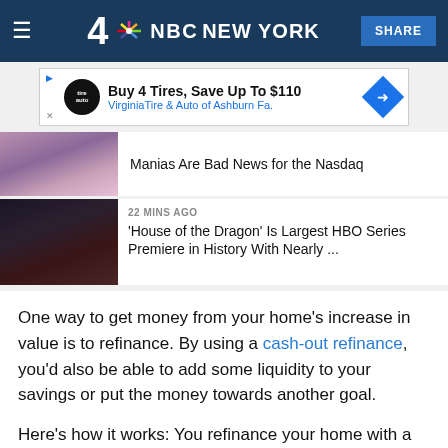4 NBC NEW YORK  SHARE
[Figure (screenshot): Advertisement banner: Buy 4 Tires, Save Up To $110 - VirginiaTire & Auto of Ashburn Fa.]
[Figure (photo): News thumbnail - partially visible image of person]
Manias Are Bad News for the Nasdaq
[Figure (photo): News thumbnail - dark fantasy scene from House of the Dragon]
22 MINS AGO
'House of the Dragon' Is Largest HBO Series Premiere in History With Nearly ...
One way to get money from your home's increase in value is to refinance. By using a cash-out refinance, you'd also be able to add some liquidity to your savings or put the money towards another goal.
Here's how it works: You refinance your home with a larger mortgage than you previously had to get the difference back